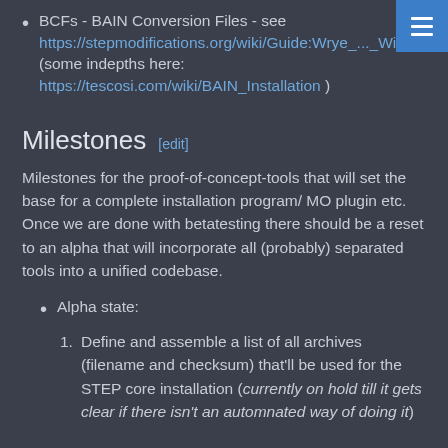BCFs - BAIN Conversion Files - see https://stepmodifications.org/wiki/Guide:Wrye_..._With_BCFs (some indepths here: https://tescosi.com/wiki/BAIN_Installation )
Milestones [edit]
Milestones for the proof-of-concept-tools that will set the base for a complete installation program/ MO plugin etc. Once we are done with betatesting there should be a reset to an alpha that will incorporate all (probably) separated tools into a unified codebase.
Alpha state:
Define and assemble a list of all archives (filename and checksum) that'll be used for the STEP core installation (currently on hold till it gets clear if there isn't an automnated way of doing it)